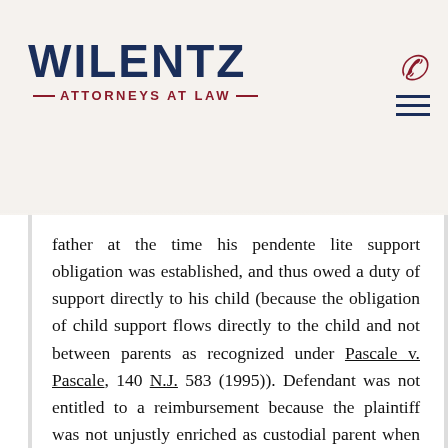WILENTZ — ATTORNEYS AT LAW —
father at the time his pendente lite support obligation was established, and thus owed a duty of support directly to his child (because the obligation of child support flows directly to the child and not between parents as recognized under Pascale v. Pascale, 140 N.J. 583 (1995)). Defendant was not entitled to a reimbursement because the plaintiff was not unjustly enriched as custodial parent when she accepted the support payments since the true identity of the child's father was not yet known and no other support had been provided. The Court also took issue with the fact that defendant's attorney failed to reserve the right, in the Property Settlement Agreement, to make revisions to alimony, equitable distribution or other property